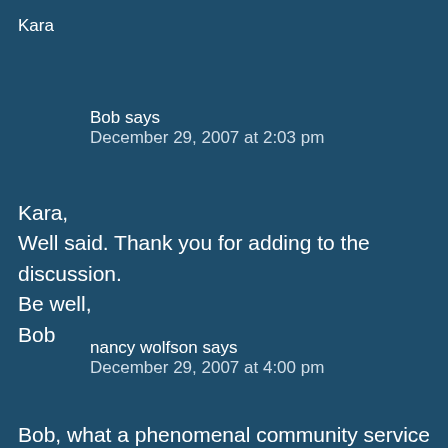Kara
Bob says
December 29, 2007 at 2:03 pm
Kara,
Well said. Thank you for adding to the discussion.
Be well,
Bob
nancy wolfson says
December 29, 2007 at 4:00 pm
Bob, what a phenomenal community service you